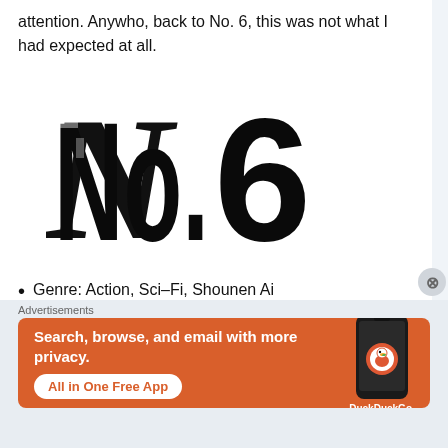attention. Anywho, back to No. 6, this was not what I had expected at all.
[Figure (illustration): Large stylized brush-stroke text reading 'No.6' in bold black ink on white background]
Genre: Action, Sci-Fi, Shounen Ai
Advertisements
[Figure (screenshot): DuckDuckGo advertisement banner with orange background. Text: 'Search, browse, and email with more privacy. All in One Free App'. Shows a phone with DuckDuckGo logo and branding.]